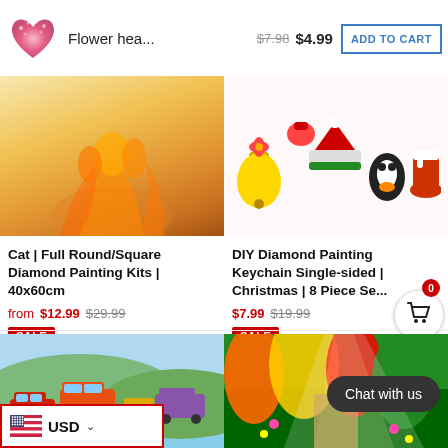[Figure (screenshot): E-commerce product listing page showing diamond painting kits and keychains with prices and sale badges]
Flower hea...
$7.98 $4.99
ADD TO CART
1
Cat | Full Round/Square Diamond Painting Kits | 40x60cm
from $12.99 $29.99
SALE
DIY Diamond Painting Keychain Single-sided | Christmas | 8 Piece Se...
$7.99 $19.99
SALE
USD
Chat with us